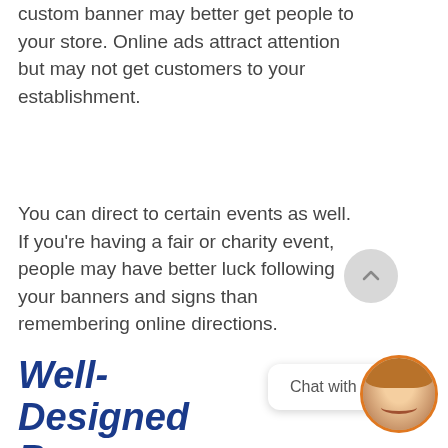custom banner may better get people to your store. Online ads attract attention but may not get customers to your establishment.
You can direct to certain events as well. If you're having a fair or charity event, people may have better luck following your banners and signs than remembering online directions.
Well-Designed Banners